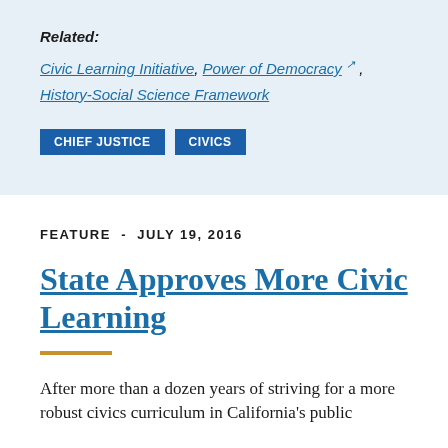Related:
Civic Learning Initiative, Power of Democracy (external link), History-Social Science Framework
CHIEF JUSTICE   CIVICS
FEATURE · JULY 19, 2016
State Approves More Civic Learning
After more than a dozen years of striving for a more robust civics curriculum in California's public